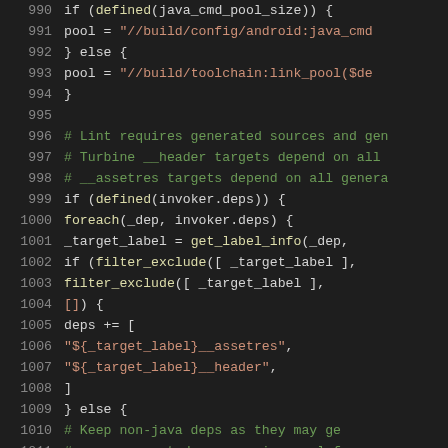Source code listing lines 990-1011, showing GN build script logic for pool assignment and dependency handling